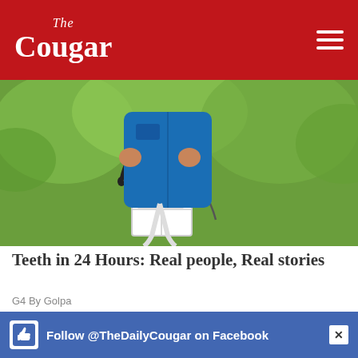The Cougar
[Figure (photo): Person in blue vest holding handlebars of a white bicycle, green foliage background]
Teeth in 24 Hours: Real people, Real stories
G4 By Golpa
[Figure (photo): Stack of shiny gold bars arranged in rows]
Follow @TheDailyCougar on Facebook